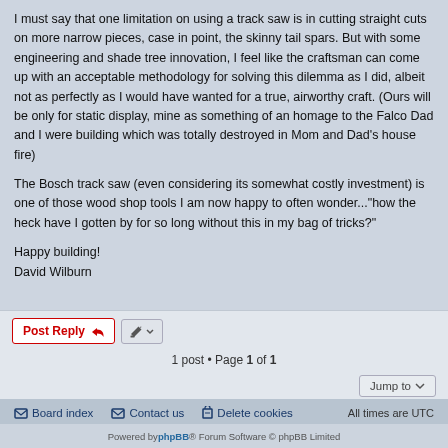I must say that one limitation on using a track saw is in cutting straight cuts on more narrow pieces, case in point, the skinny tail spars. But with some engineering and shade tree innovation, I feel like the craftsman can come up with an acceptable methodology for solving this dilemma as I did, albeit not as perfectly as I would have wanted for a true, airworthy craft. (Ours will be only for static display, mine as something of an homage to the Falco Dad and I were building which was totally destroyed in Mom and Dad's house fire)
The Bosch track saw (even considering its somewhat costly investment) is one of those wood shop tools I am now happy to often wonder..."how the heck have I gotten by for so long without this in my bag of tricks?"
Happy building!
David Wilburn
1 post • Page 1 of 1
Board index   Contact us   Delete cookies   All times are UTC
Powered by phpBB® Forum Software © phpBB Limited